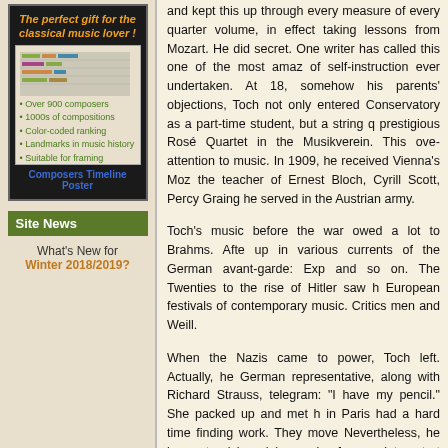[Figure (illustration): Advertisement box for Composers Timeline Poster with title 'The perfect gift for the classical music lover!' and bullet points listing features, with an image area showing a timeline poster preview]
Over 900 composers
1000s of compositions
Color-coded ranking
Landmarks in music history
Suitable for framing
Composers Timeline Poster
Site News
What's New for Winter 2018/2019?
and kept this up through every measure of every quarter volume, in effect taking lessons from Mozart. He did secret. One writer has called this one of the most amaz of self-instruction ever undertaken. At 18, somehow his parents' objections, Toch not only entered Conservatory as a part-time student, but a string q prestigious Rosé Quartet in the Musikverein. This ove attention to music. In 1909, he received Vienna's Moz the teacher of Ernest Bloch, Cyrill Scott, Percy Graing he served in the Austrian army.
Toch's music before the war owed a lot to Brahms. Afte up in various currents of the German avant-garde: Exp and so on. The Twenties to the rise of Hitler saw h European festivals of contemporary music. Critics men and Weill.
When the Nazis came to power, Toch left. Actually, he German representative, along with Richard Strauss, telegram: "I have my pencil." She packed up and met h in Paris had a hard time finding work. They move Nevertheless, he began to pick up jobs scoring for appointment at New York City's New School of Social refugees – indeed, the cream of European intelligents Roman Jakobsen, Jacques Maritain, and Claude Lev scores by the Hollywood studios, and he made his f nominations.